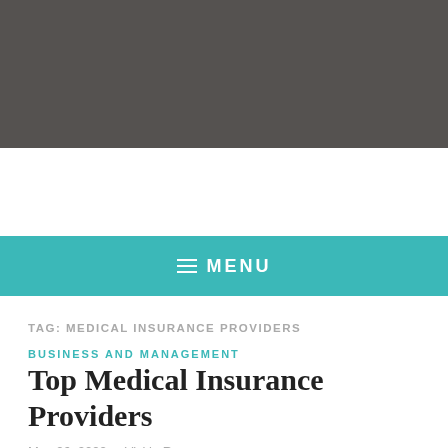MENU
TAG: MEDICAL INSURANCE PROVIDERS
BUSINESS AND MANAGEMENT
Top Medical Insurance Providers
May 26, 2022   Vickie Ryan